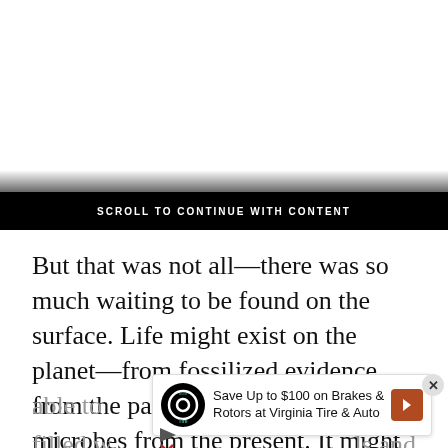SCROLL TO CONTINUE WITH CONTENT
But that was not all—there was so much waiting to be found on the surface. Life might exist on the planet—from fossilized evidence from the past, or maybe even hardy microbes from the present. It might even be
able to ... ps filled w ... ls and resour ... bout the pla ... g that
[Figure (infographic): Advertisement overlay: Save Up to $100 on Brakes & Rotors at Virginia Tire & Auto, with Tire Auto logo and directional arrow icon]